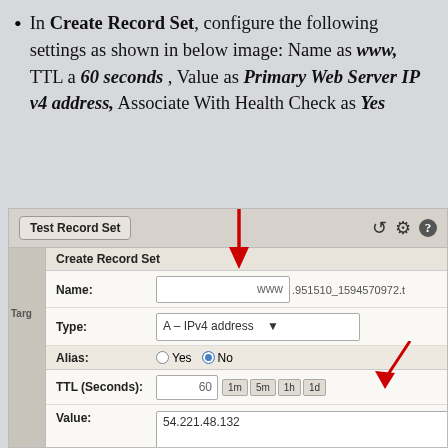In Create Record Set, configure the following settings as shown in below image: Name as www, TTL a 60 seconds , Value as Primary Web Server IP v4 address, Associate With Health Check as Yes
[Figure (screenshot): AWS Route 53 Create Record Set form showing fields: Name (www), Type (A - IPv4 address), Alias (No selected), TTL Seconds (60 with buttons 1m 5m 1h 1d), Value (54.221.48.132). Red arrows point to the Name field and TTL field. A red arrow also points to the Value field. Helper text shows IPv4 address instructions and example 192.0.2.235.]